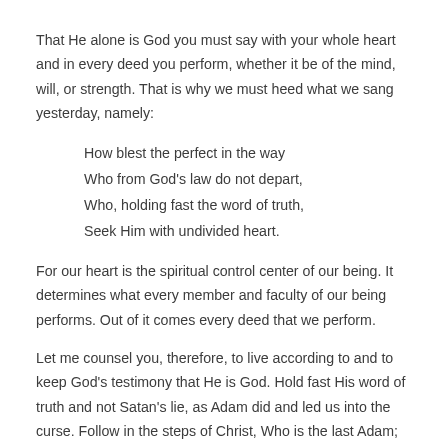That He alone is God you must say with your whole heart and in every deed you perform, whether it be of the mind, will, or strength. That is why we must heed what we sang yesterday, namely:
How blest the perfect in the way
Who from God's law do not depart,
Who, holding fast the word of truth,
Seek Him with undivided heart.
For our heart is the spiritual control center of our being. It determines what every member and faculty of our being performs. Out of it comes every deed that we perform.
Let me counsel you, therefore, to live according to and to keep God's testimony that He is God. Hold fast His word of truth and not Satan's lie, as Adam did and led us into the curse. Follow in the steps of Christ, Who is the last Adam; and then you will enjoy the blessedness that He realized for us. He kept God's testimonies and called Him God in all His deeds, even while